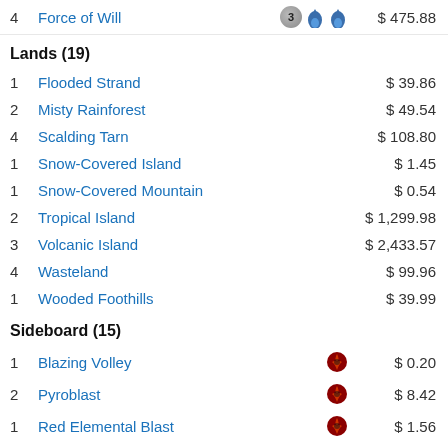4 Force of Will $475.88
Lands (19)
1 Flooded Strand $39.86
2 Misty Rainforest $49.54
4 Scalding Tarn $108.80
1 Snow-Covered Island $1.45
1 Snow-Covered Mountain $0.54
2 Tropical Island $1,299.98
3 Volcanic Island $2,433.57
4 Wasteland $99.96
1 Wooded Foothills $39.99
Sideboard (15)
1 Blazing Volley $0.20
2 Pyroblast $8.42
1 Red Elemental Blast $1.56
2 Surgical Extraction $11.40
1 Abrade $0.25
1 Ancient Grudge $0.25
Ad BitLife - Life Simulator Install!